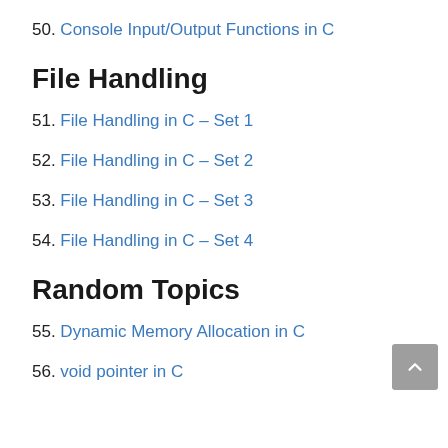50. Console Input/Output Functions in C
File Handling
51. File Handling in C – Set 1
52. File Handling in C – Set 2
53. File Handling in C – Set 3
54. File Handling in C – Set 4
Random Topics
55. Dynamic Memory Allocation in C
56. void pointer in C